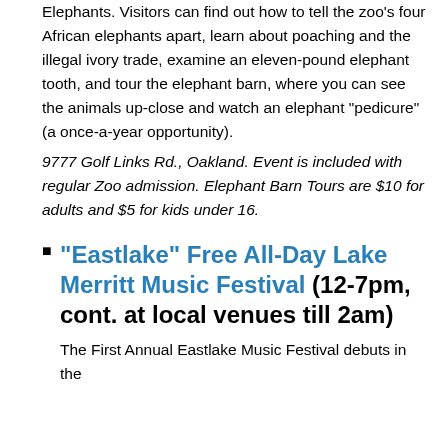Elephants. Visitors can find out how to tell the zoo's four African elephants apart, learn about poaching and the illegal ivory trade, examine an eleven-pound elephant tooth, and tour the elephant barn, where you can see the animals up-close and watch an elephant “pedicure” (a once-a-year opportunity).
9777 Golf Links Rd., Oakland. Event is included with regular Zoo admission. Elephant Barn Tours are $10 for adults and $5 for kids under 16.
“Eastlake” Free All-Day Lake Merritt Music Festival (12-7pm, cont. at local venues till 2am)
The First Annual Eastlake Music Festival debuts in the